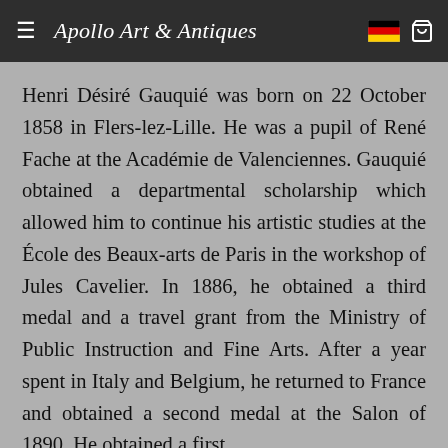≡ Apollo Art & Antiques
Henri Désiré Gauquié was born on 22 October 1858 in Flers-lez-Lille. He was a pupil of René Fache at the Académie de Valenciennes. Gauquié obtained a departmental scholarship which allowed him to continue his artistic studies at the École des Beaux-arts de Paris in the workshop of Jules Cavelier. In 1886, he obtained a third medal and a travel grant from the Ministry of Public Instruction and Fine Arts. After a year spent in Italy and Belgium, he returned to France and obtained a second medal at the Salon of 1890. He obtained a first